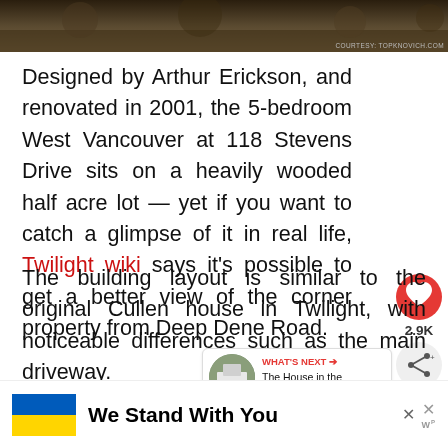[Figure (photo): Aerial or ground-level photo of wooded lot, dark brown earthy tones]
COURTESY: TOPKNOVICH.COM
Designed by Arthur Erickson, and renovated in 2001, the 5-bedroom West Vancouver at 118 Stevens Drive sits on a heavily wooded half acre lot — yet if you want to catch a glimpse of it in real life, Twilight wiki says it's possible to get a better view of the corner property from Deep Dene Road.
The building layout is similar to the original Cullen house in Twilight, with noticeable differences such as the main driveway.
We Stand With You